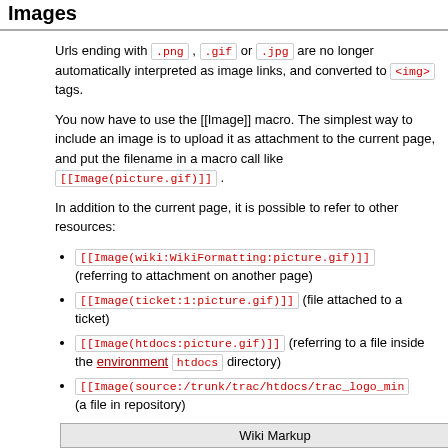Images
Urls ending with .png , .gif or .jpg are no longer automatically interpreted as image links, and converted to <img> tags.
You now have to use the [[Image]] macro. The simplest way to include an image is to upload it as attachment to the current page, and put the filename in a macro call like [[Image(picture.gif)]] .
In addition to the current page, it is possible to refer to other resources:
[[Image(wiki:WikiFormatting:picture.gif)]] (referring to attachment on another page)
[[Image(ticket:1:picture.gif)]] (file attached to a ticket)
[[Image(htdocs:picture.gif)]] (referring to a file inside the environment htdocs directory)
[[Image(source:/trunk/trac/htdocs/trac_logo_min... (a file in repository)
| Wiki Markup |
| --- |
| [[Image(htdocs:../common/trac_logo_mini.png)]] |
See WikiMacros for further documentation on the [[Image()]]